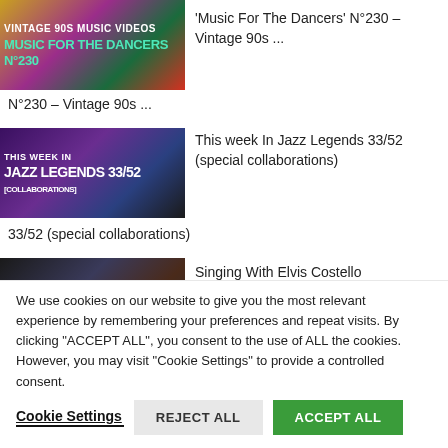[Figure (screenshot): Thumbnail for 'Vintage 90s Music Videos – Music For The Dancers N°230', colorful background with text overlay]
'Music For The Dancers' N°230 – Vintage 90s ...
[Figure (screenshot): Thumbnail for 'This Week In Jazz Legends 33/52 [collaborations]', purple background with text overlay]
This week In Jazz Legends 33/52 (special collaborations)
[Figure (screenshot): Thumbnail for 'Singing With Elvis Costello', dark background with performer image]
Singing With Elvis Costello
We use cookies on our website to give you the most relevant experience by remembering your preferences and repeat visits. By clicking "ACCEPT ALL", you consent to the use of ALL the cookies. However, you may visit "Cookie Settings" to provide a controlled consent.
Cookie Settings   REJECT ALL   ACCEPT ALL